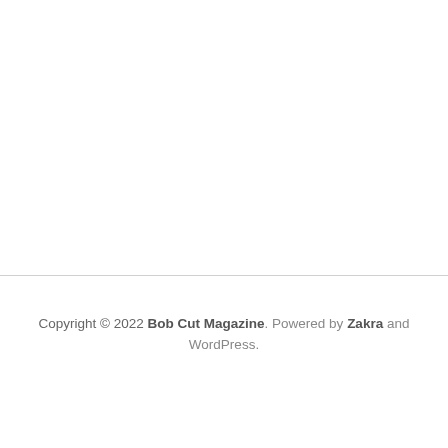Copyright © 2022 Bob Cut Magazine. Powered by Zakra and WordPress.